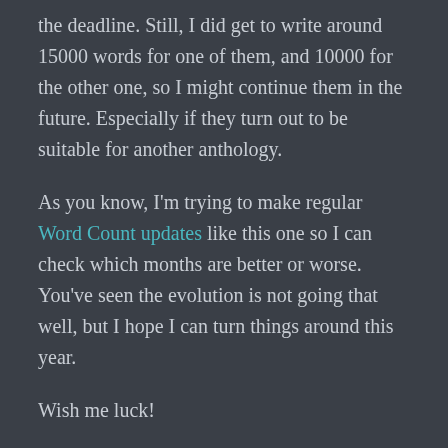the deadline. Still, I did get to write around 15000 words for one of them, and 10000 for the other one, so I might continue them in the future. Especially if they turn out to be suitable for another anthology.
As you know, I'm trying to make regular Word Count updates like this one so I can check which months are better or worse. You've seen the evolution is not going that well, but I hope I can turn things around this year.
Wish me luck!
Sol Vera   my projects, Writing   2 Comments   April 4, 2022   1 Minute